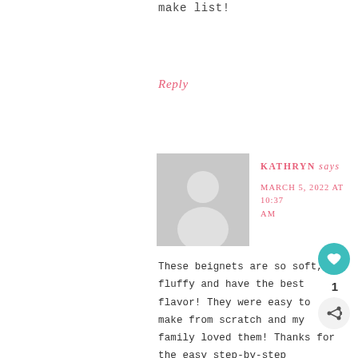make list!
Reply
[Figure (illustration): Gray placeholder avatar showing a generic person silhouette (circle head, body shape) on a gray background square.]
KATHRYN says
MARCH 5, 2022 AT 10:37 AM
These beignets are so soft, fluffy and have the best flavor! They were easy to make from scratch and my family loved them! Thanks for the easy step-by-step instructions. I'll definitely be making these often 🙂